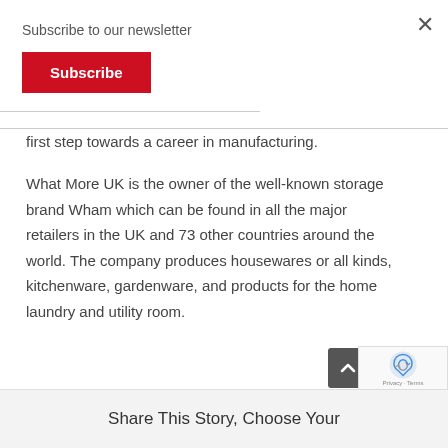Subscribe to our newsletter
Subscribe
first step towards a career in manufacturing.
What More UK is the owner of the well-known storage brand Wham which can be found in all the major retailers in the UK and 73 other countries around the world. The company produces housewares or all kinds, kitchenware, gardenware, and products for the home laundry and utility room.
Share This Story, Choose Your